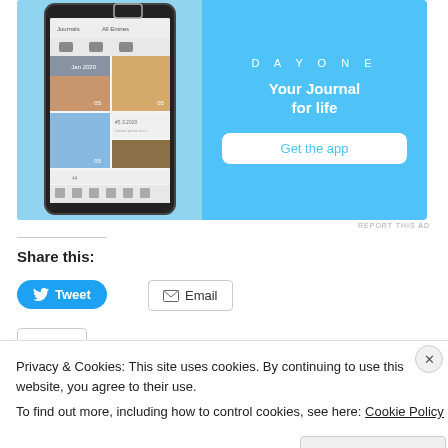[Figure (screenshot): Day One app advertisement banner with blue background showing phone UI on left, DAYONE logo, 'Your Journal for life' tagline, and 'Get the app' button on right]
REPORT THIS AD
Share this:
Tweet
Email
Privacy & Cookies: This site uses cookies. By continuing to use this website, you agree to their use.
To find out more, including how to control cookies, see here: Cookie Policy
Close and accept